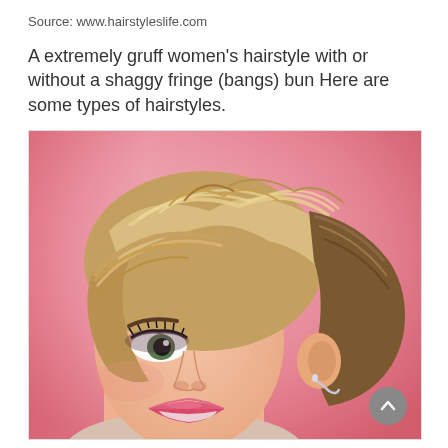Source: www.hairstyleslife.com
A extremely gruff women's hairstyle with or without a shaggy fringe (bangs) bun Here are some types of hairstyles.
[Figure (photo): Close-up photo of a smiling woman with a short pixie cut hairstyle, blonde and brown highlights, wearing a silver earring, pink lipstick and smoky eye makeup, with a soft blurred pink background.]